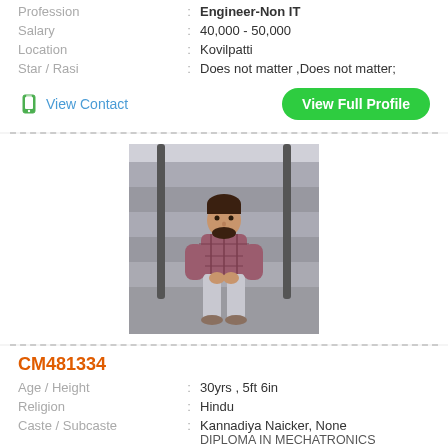Profession : Engineer-Non IT
Salary : 40,000 - 50,000
Location : Kovilpatti
Star / Rasi : Does not matter ,Does not matter;
View Contact
View Full Profile
[Figure (photo): Young man with beard sitting on stairs in a checkered shirt and light jeans]
CM481334
Age / Height : 30yrs , 5ft 6in
Religion : Hindu
Caste / Subcaste : Kannadiya Naicker, None
DIPLOMA IN MECHATRONICS